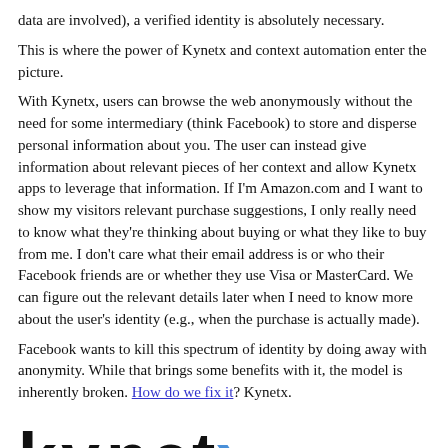data are involved), a verified identity is absolutely necessary.
This is where the power of Kynetx and context automation enter the picture.
With Kynetx, users can browse the web anonymously without the need for some intermediary (think Facebook) to store and disperse personal information about you. The user can instead give information about relevant pieces of her context and allow Kynetx apps to leverage that information. If I'm Amazon.com and I want to show my visitors relevant purchase suggestions, I only really need to know what they're thinking about buying or what they like to buy from me. I don't care what their email address is or who their Facebook friends are or whether they use Visa or MasterCard. We can figure out the relevant details later when I need to know more about the user's identity (e.g., when the purchase is actually made).
Facebook wants to kill this spectrum of identity by doing away with anonymity. While that brings some benefits with it, the model is inherently broken. How do we fix it? Kynetx.
[Figure (logo): Kynetx logo in large black and blue sans-serif text]